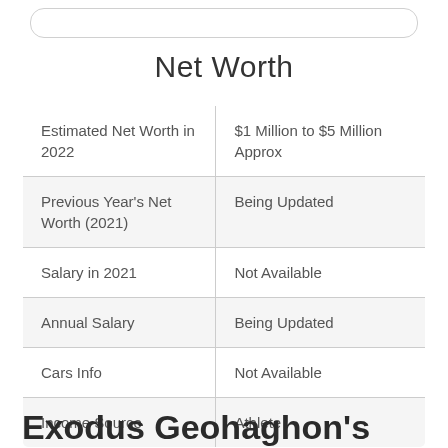Net Worth
| Estimated Net Worth in 2022 | $1 Million to $5 Million Approx |
| Previous Year's Net Worth (2021) | Being Updated |
| Salary in 2021 | Not Available |
| Annual Salary | Being Updated |
| Cars Info | Not Available |
| Income Source | Athlete |
Exodus Geohaghon's